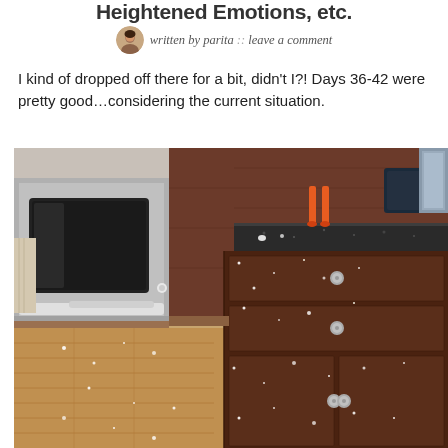Heightened Emotions, etc.
written by parita :: leave a comment
I kind of dropped off there for a bit, didn't I?! Days 36-42 were pretty good…considering the current situation.
[Figure (photo): Kitchen scene showing dark wood cabinets with silver knobs covered in glitter/salt, a granite countertop with small orange figurine legs visible, stainless steel appliance on the left, hardwood floor with glitter scattered, and a dark baking pan in the upper right corner.]